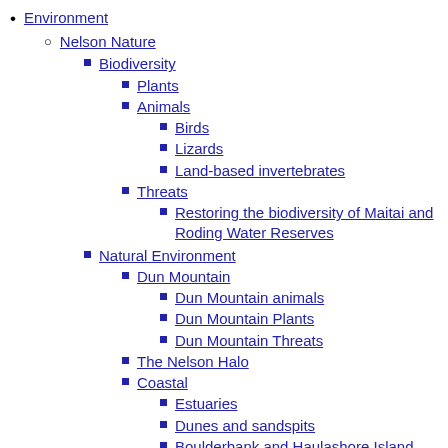Environment
Nelson Nature
Biodiversity
Plants
Animals
Birds
Lizards
Land-based invertebrates
Threats
Restoring the biodiversity of Maitai and Roding Water Reserves
Natural Environment
Dun Mountain
Dun Mountain animals
Dun Mountain Plants
Dun Mountain Threats
The Nelson Halo
Coastal
Estuaries
Dunes and sandspits
Boulderbank and Haulashore Island
Community
Volunteers
Enviroschools
Partnerships